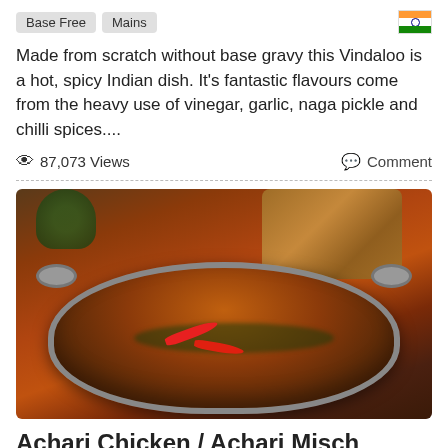Base Free
Mains
Made from scratch without base gravy this Vindaloo is a hot, spicy Indian dish. It's fantastic flavours come from the heavy use of vinegar, garlic, naga pickle and chilli spices....
👁 87,073 Views
💬 Comment
[Figure (photo): A stainless steel balti pan filled with rich, dark red Vindaloo curry topped with red chilli peppers and fresh herbs/coriander, placed on a white surface with a wooden cutting board and green plant in the background.]
Achari Chicken / Achari Misch (Fro...